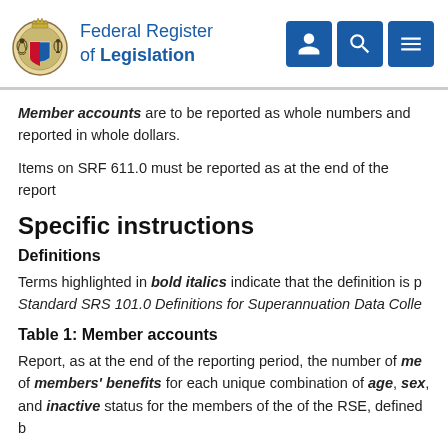Federal Register of Legislation
Member accounts are to be reported as whole numbers and reported in whole dollars.
Items on SRF 611.0 must be reported as at the end of the report
Specific instructions
Definitions
Terms highlighted in bold italics indicate that the definition is p Standard SRS 101.0 Definitions for Superannuation Data Colle
Table 1: Member accounts
Report, as at the end of the reporting period, the number of members' benefits for each unique combination of age, sex, and inactive status for the members of the of the RSE, defined b